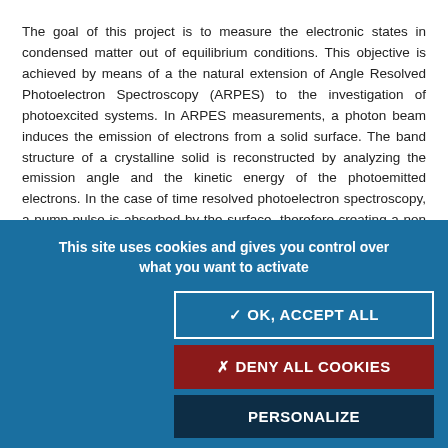The goal of this project is to measure the electronic states in condensed matter out of equilibrium conditions. This objective is achieved by means of a the natural extension of Angle Resolved Photoelectron Spectroscopy (ARPES) to the investigation of photoexcited systems. In ARPES measurements, a photon beam induces the emission of electrons from a solid surface. The band structure of a crystalline solid is reconstructed by analyzing the emission angle and the kinetic energy of the photoemitted electrons. In the case of time resolved photoelectron spectroscopy, a pump pulse is absorbed by the surface, therefore creating a non equilibrium state. A second pulse in the ultraviolet spectral range probes the photoexicted state via the photoemission
This site uses cookies and gives you control over what you want to activate
✓ OK, ACCEPT ALL
✗ DENY ALL COOKIES
PERSONALIZE